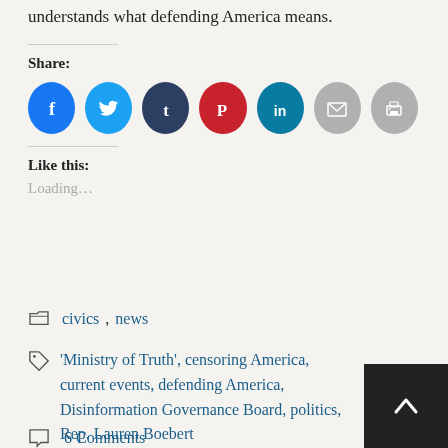understands what defending America means.
Share:
[Figure (infographic): Row of social share buttons: Facebook (blue), Twitter (light blue), Tumblr (dark blue), Pinterest (red), LinkedIn (teal), Email (grey), Print (grey)]
Like this:
Loading...
civics, news
'Ministry of Truth', censoring America, current events, defending America, Disinformation Governance Board, politics, Rep. Lauren Boebert
6 Comments